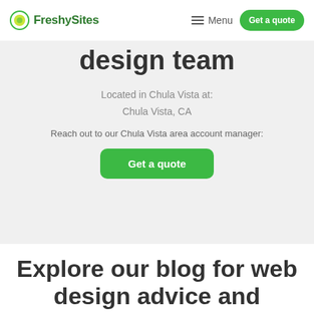FreshySites | Menu | Get a quote
design team
Located in Chula Vista at:
Chula Vista, CA
Reach out to our Chula Vista area account manager:
Get a quote
Explore our blog for web design advice and inspiration